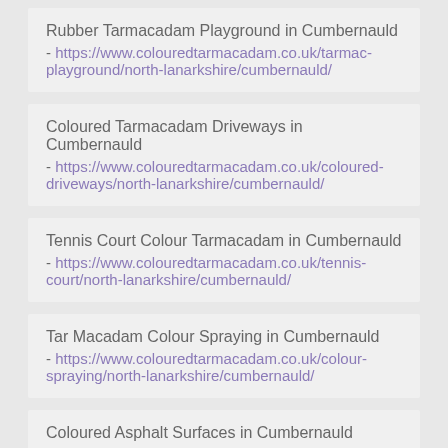Rubber Tarmacadam Playground in Cumbernauld - https://www.colouredtarmacadam.co.uk/tarmac-playground/north-lanarkshire/cumbernauld/
Coloured Tarmacadam Driveways in Cumbernauld - https://www.colouredtarmacadam.co.uk/coloured-driveways/north-lanarkshire/cumbernauld/
Tennis Court Colour Tarmacadam in Cumbernauld - https://www.colouredtarmacadam.co.uk/tennis-court/north-lanarkshire/cumbernauld/
Tar Macadam Colour Spraying in Cumbernauld - https://www.colouredtarmacadam.co.uk/colour-spraying/north-lanarkshire/cumbernauld/
Coloured Asphalt Surfaces in Cumbernauld - https://www.colouredtarmacadam.co.uk/coloured-asphalt/north-lanarkshire/cumbernauld/